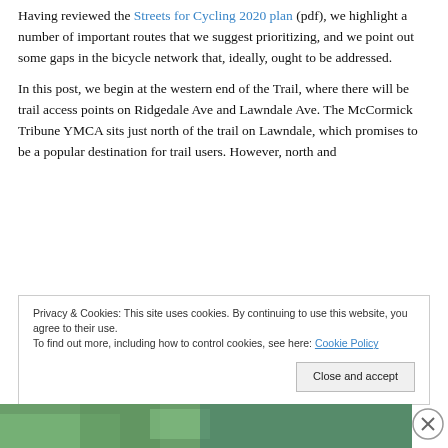Having reviewed the Streets for Cycling 2020 plan (pdf), we highlight a number of important routes that we suggest prioritizing, and we point out some gaps in the bicycle network that, ideally, ought to be addressed.
In this post, we begin at the western end of the Trail, where there will be trail access points on Ridgedale Ave and Lawndale Ave. The McCormick Tribune YMCA sits just north of the trail on Lawndale, which promises to be a popular destination for trail users. However, north and
Privacy & Cookies: This site uses cookies. By continuing to use this website, you agree to their use.
To find out more, including how to control cookies, see here: Cookie Policy
[Figure (photo): Bottom strip showing a partial outdoor/nature photo in green tones with a close/dismiss circle icon on the right]